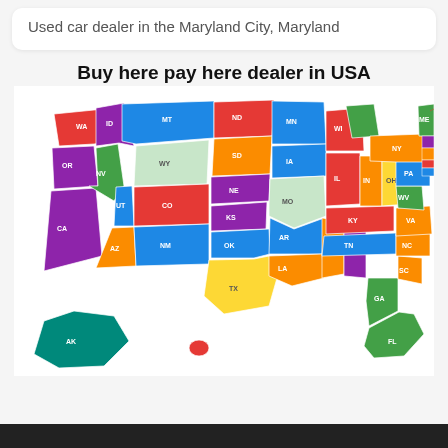Used car dealer in the Maryland City, Maryland
Buy here pay here dealer in USA
[Figure (map): Colorful choropleth map of the United States showing states colored in different colors (red, blue, green, yellow, orange, purple, teal) with state abbreviation labels. Alaska and Hawaii shown below the contiguous US. States labeled: WA, OR, CA, ID, NV, MT, WY, UT, CO, AZ, NM, ND, SD, NE, KS, OK, TX, MN, IA, MO, AR, LA, WI, IL, IN, OH, KY, TN, MS, AL, GA, FL, MI, PA, WV, VA, NC, SC, NY, ME, NH, VT, MA, RI, CT, NJ, DE, MD, AK, HI]